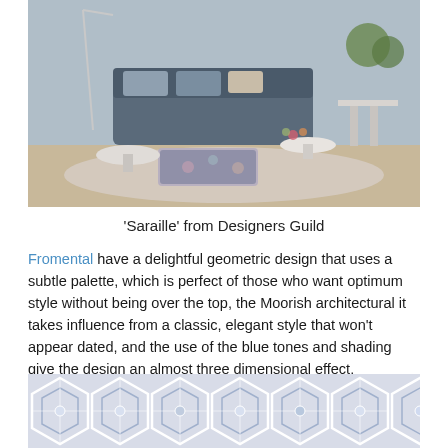[Figure (photo): Interior room scene showing a modern living room with a dark grey sofa, floral ottoman, round marble coffee tables, plants, and a light grey/blue palette. The rug features a floral or abstract pattern.]
'Saraille' from Designers Guild
Fromental have a delightful geometric design that uses a subtle palette, which is perfect of those who want optimum style without being over the top, the Moorish architectural it takes influence from a classic, elegant style that won't appear dated, and the use of the blue tones and shading give the design an almost three dimensional effect.
[Figure (photo): Close-up of a geometric wallpaper or fabric design with interlocking star and diamond shapes in white and shades of blue, creating a three-dimensional Moorish/geometric pattern.]